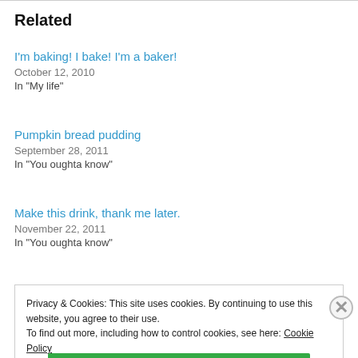Related
I'm baking! I bake! I'm a baker!
October 12, 2010
In "My life"
Pumpkin bread pudding
September 28, 2011
In "You oughta know"
Make this drink, thank me later.
November 22, 2011
In "You oughta know"
Privacy & Cookies: This site uses cookies. By continuing to use this website, you agree to their use.
To find out more, including how to control cookies, see here: Cookie Policy